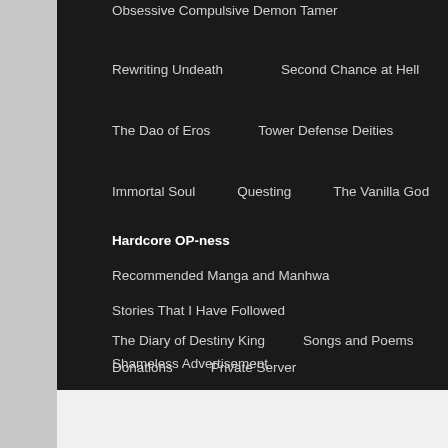Obsessive Compulsive Demon Tamer
Rewriting Undeath
Second Chance at Hell
The Dao of Eros
Tower Defense Deities
Immortal Soul
Questing
The Vanilla God
Hardcore OP-ness
Recommended Manga and Manhwa
Stories That I Have Followed
The Diary of Destiny King
Songs and Poems
Donations
Private Server
Shameless Advertisement